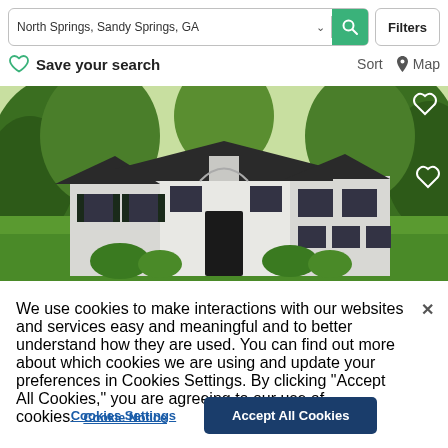North Springs, Sandy Springs, GA
Filters
Save your search
Sort   Map
[Figure (photo): Exterior photo of a white single-story ranch house with black shutters surrounded by large green trees and a manicured green lawn]
We use cookies to make interactions with our websites and services easy and meaningful and to better understand how they are used. You can find out more about which cookies we are using and update your preferences in Cookies Settings. By clicking "Accept All Cookies," you are agreeing to our use of cookies.  Cookie Notice
Cookies Settings
Accept All Cookies